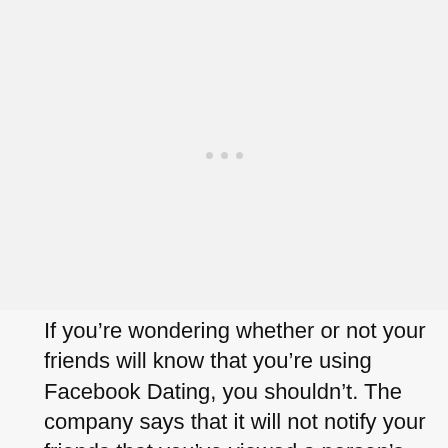[Figure (other): Large image placeholder area with three small light gray dots centered in the middle, indicating a loading or blank image region.]
If you’re wondering whether or not your friends will know that you’re using Facebook Dating, you shouldn’t. The company says that it will not notify your friends that you’ve viewed a person’s profile.